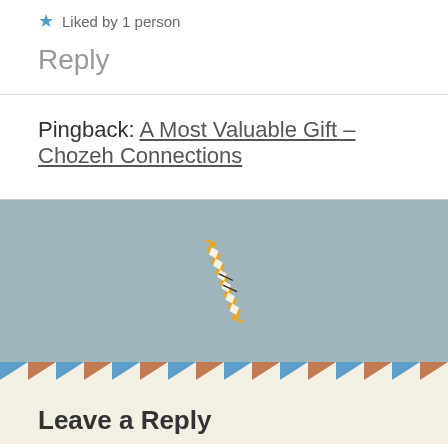★ Liked by 1 person
Reply
Pingback: A Most Valuable Gift – Chozeh Connections
[Figure (illustration): Decorative envelope or letter icon with jagged zigzag border in gold/yellow, white body with dark markings, on a muted teal/blue-gray background]
Leave a Reply